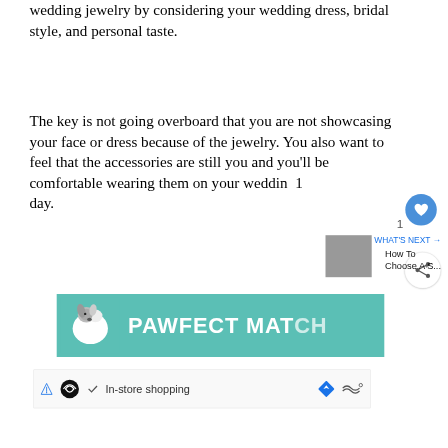wedding jewelry by considering your wedding dress, bridal style, and personal taste.
The key is not going overboard that you are not showcasing your face or dress because of the jewelry. You also want to feel that the accessories are still you and you'll be comfortable wearing them on your wedding day.
[Figure (other): Advertisement banner with teal background showing a dog illustration and text 'PAWFECT MATCH']
[Figure (other): Bottom advertisement bar with icons for In-store shopping and navigation symbols]